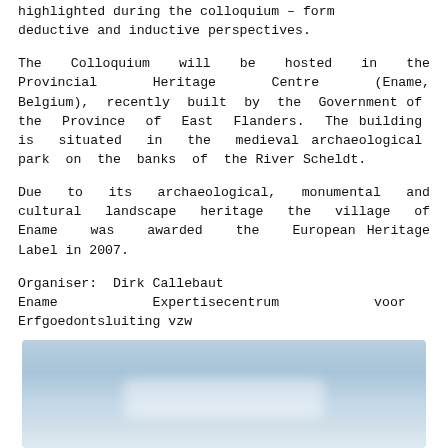highlighted during the colloquium – form deductive and inductive perspectives.
The Colloquium will be hosted in the Provincial Heritage Centre (Ename, Belgium), recently built by the Government of the Province of East Flanders. The building is situated in the medieval archaeological park on the banks of the River Scheldt.
Due to its archaeological, monumental and cultural landscape heritage the village of Ename was awarded the European Heritage Label in 2007.
Organiser:  Dirk Callebaut
Ename         Expertisecentrum         voor
Erfgoedontsluiting vzw
[Figure (photo): Blurred outdoor photograph with blue-grey sky, likely showing a building or landscape at Ename.]